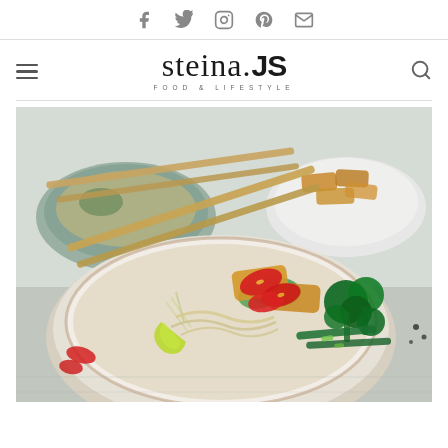Social media icons: Facebook, Twitter, Instagram, Pinterest, Email
[Figure (logo): steina.JS food and lifestyle blog logo with hamburger menu and search icon]
[Figure (photo): Asian noodle bowl with fried tofu, broccoli, bean sprouts, red chili slices, lime, and chopsticks on a white wooden surface]